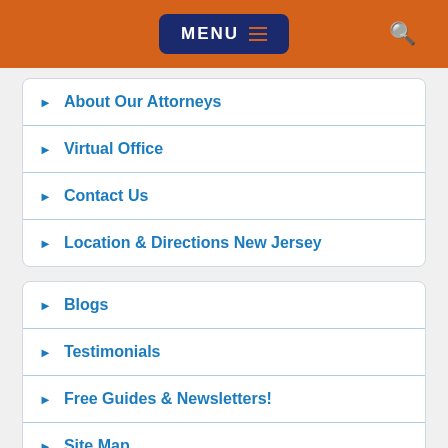MENU
About Our Attorneys
Virtual Office
Contact Us
Location & Directions New Jersey
Blogs
Testimonials
Free Guides & Newsletters!
Site Map